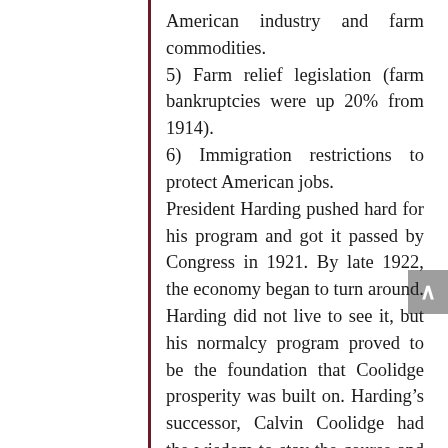American industry and farm commodities.
5) Farm relief legislation (farm bankruptcies were up 20% from 1914).
6) Immigration restrictions to protect American jobs.
President Harding pushed hard for his program and got it passed by Congress in 1921. By late 1922, the economy began to turn around. Harding did not live to see it, but his normalcy program proved to be the foundation that Coolidge prosperity was built on. Harding's successor, Calvin Coolidge had the wisdom to stay the course and build on Harding's program. The American people were the beneficiaries of the unprecedented prosperity of the